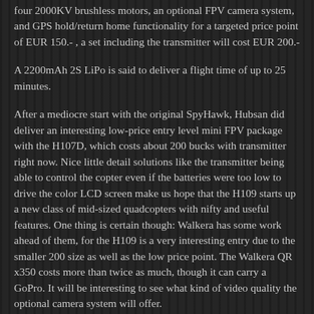four 2000KV brushless motors, an optional FPV camera system, and GPS hold/return home functionality for a targeted price point of EUR 150.- , a set including the transmitter will cost EUR 200.-
A 2200mAh 2S LiPo is said to deliver a flight time of up to 25 minutes.
After a mediocre start with the original SpyHawk, Hubsan did deliver an interesting low-price entry level mini FPV package with the H107D, which costs about 200 bucks with transmitter right now. Nice little detail solutions like the transmitter being able to control the copter even if the batteries were too low to drive the color LCD screen make us hope that the H109 starts up a new class of mid-sized quadcopters with nifty and useful features. One thing is certain though: Walkera has some work ahead of them, for the H109 is a very interesting entry due to the smaller 200 size as well as the low price point. The Walkera QR x350 costs more than twice as much, though it can carry a GoPro. It will be interesting to see what kind of video quality the optional camera system will offer.
Official specs and images after the break.